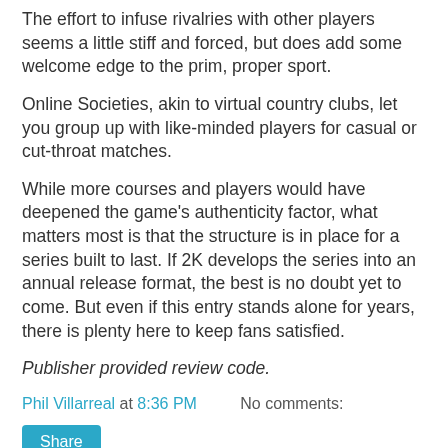The effort to infuse rivalries with other players seems a little stiff and forced, but does add some welcome edge to the prim, proper sport.
Online Societies, akin to virtual country clubs, let you group up with like-minded players for casual or cut-throat matches.
While more courses and players would have deepened the game's authenticity factor, what matters most is that the structure is in place for a series built to last. If 2K develops the series into an annual release format, the best is no doubt yet to come. But even if this entry stands alone for years, there is plenty here to keep fans satisfied.
Publisher provided review code.
Phil Villarreal at 8:36 PM    No comments:
Share
Wednesday, August 19, 2020
PHIL ON FILM: Movies leaving Netflix in